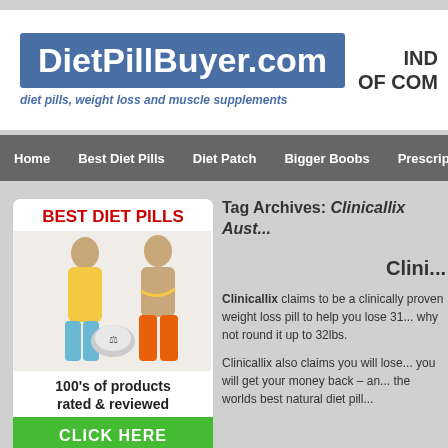[Figure (logo): DietPillBuyer.com logo with blue background and white bold text, tagline 'diet pills, weight loss and muscle supplements' in blue italic below]
IND OF COM
[Figure (screenshot): Navigation bar with links: Home, Best Diet Pills, Diet Patch, Bigger Boobs, Prescript...]
Tag Archives: Clinicallix Aust...
[Figure (photo): BEST DIET PILLS sidebar with photo of fitness couple (woman in yellow top with scale, man in orange shorts with measuring tape), caption '100's of products rated & reviewed', green CLICK HERE button]
Clini...
Clinicallix claims to be a clinically proven weight loss pill to help you lose 31... why not round it up to 32lbs.
Clinicallix also claims you will lose... you will get your money back – an... the worlds best natural diet pill...